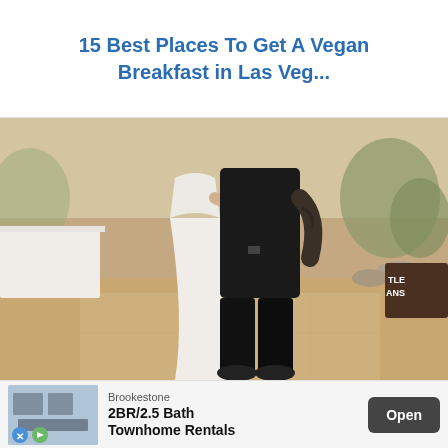15 Best Places To Get A Vegan Breakfast in Las Veg...
[Figure (photo): A couple dancing outdoors at what appears to be a wedding reception. The woman wears a white fitted gown and the man wears all black. They are holding each other in a dance pose on a patio area, with white-clothed tables and desert landscape in the background.]
Brookestone
2BR/2.5 Bath Townhome Rentals
Open